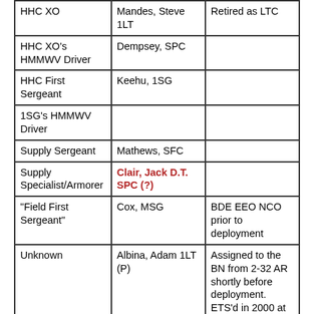| HHC XO | Mandes, Steve 1LT | Retired as LTC |
| HHC XO's HMMWV Driver | Dempsey, SPC |  |
| HHC First Sergeant | Keehu, 1SG |  |
| 1SG's HMMWV Driver |  |  |
| Supply Sergeant | Mathews, SFC |  |
| Supply Specialist/Armorer | Clair, Jack D.T. SPC (?) |  |
| "Field First Sergeant" | Cox, MSG | BDE EEO NCO prior to deployment |
| Unknown | Albina, Adam 1LT (P) | Assigned to the BN from 2-32 AR shortly before deployment. ETS'd in 2000 at rank of Major |